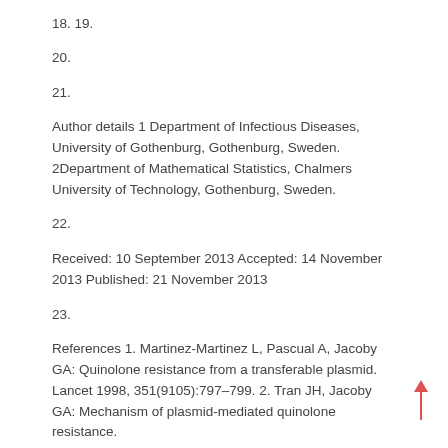18. 19.
20.
21.
Author details 1 Department of Infectious Diseases, University of Gothenburg, Gothenburg, Sweden. 2Department of Mathematical Statistics, Chalmers University of Technology, Gothenburg, Sweden.
22.
Received: 10 September 2013 Accepted: 14 November 2013 Published: 21 November 2013
23.
References 1. Martinez-Martinez L, Pascual A, Jacoby GA: Quinolone resistance from a transferable plasmid. Lancet 1998, 351(9105):797–799. 2. Tran JH, Jacoby GA: Mechanism of plasmid-mediated quinolone resistance.